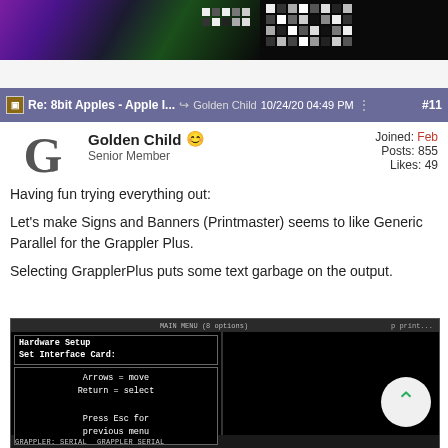[Figure (screenshot): Top portion of a forum page showing a colorful Apple II graphics screenshot with purple/green pixel art on the left and a black pixel grid on the right]
Re: 8bit Apples - Apple I... → Golden Child  10/24/20 04:49 PM  #11
Golden Child  Senior Member  Joined: Feb  Posts: 855  Likes: 49
Having fun trying everything out:
Let's make Signs and Banners (Printmaster) seems to like Generic Parallel for the Grappler Plus.
Selecting GrapplerPlus puts some text garbage on the output.
[Figure (screenshot): Apple II screen showing Hardware Setup / Set Interface Cards menu with options: Arrows=move, Return=select, Press Esc for previous menu. Bottom shows GRAPPLER: SERIAL / GRAPPLER SERIAL options.]